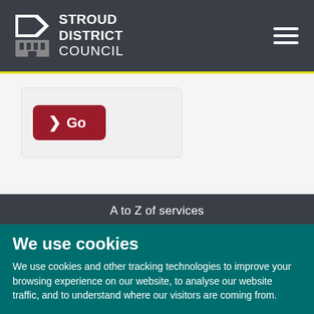[Figure (logo): Stroud District Council logo with icon and text]
[Figure (screenshot): Go button (dark red rounded rectangle with arrow and Go text)]
A to Z of services
[Figure (screenshot): A to Z letter grid: A B C D E F G H I J K L M and partial second row, teal keys on dark background]
We use cookies
We use cookies and other tracking technologies to improve your browsing experience on our website, to analyse our website traffic, and to understand where our visitors are coming from.
I agree